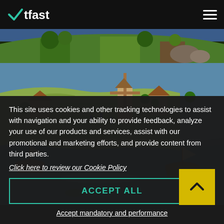WTFast logo and navigation menu
[Figure (screenshot): Top partial game screenshot showing forested terrain]
[Figure (screenshot): Main game screenshot of Age of Empires style RTS with windmill, farmlands, river, and sailing ships]
This site uses cookies and other tracking technologies to assist with navigation and your ability to provide feedback, analyze your use of our products and services, assist with our promotional and marketing efforts, and provide content from third parties.
Click here to review our Cookie Policy
ACCEPT ALL
Accept mandatory and performance